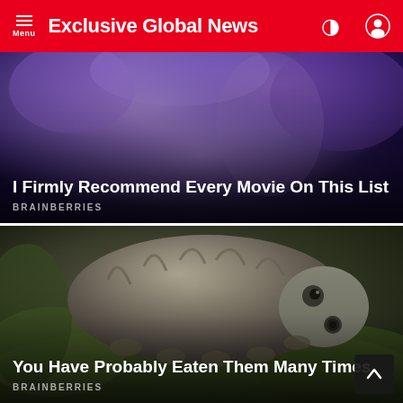Exclusive Global News
[Figure (photo): Purple and blue abstract/artistic background image for movie recommendation article]
I Firmly Recommend Every Movie On This List
BRAINBERRIES
[Figure (photo): Macro electron microscope photograph of a tardigrade (water bear) on green moss]
You Have Probably Eaten Them Many Times
BRAINBERRIES